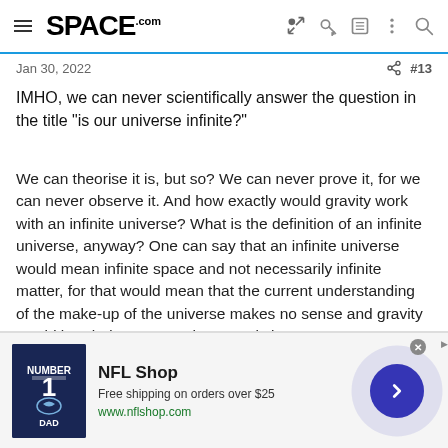SPACE.com
Jan 30, 2022   #13
IMHO, we can never scientifically answer the question in the title "is our universe infinite?"
We can theorise it is, but so? We can never prove it, for we can never observe it. And how exactly would gravity work with an infinite universe? What is the definition of an infinite universe, anyway? One can say that an infinite universe would mean infinite space and not necessarily infinite matter, for that would mean that the current understanding of the make-up of the universe makes no sense and gravity would break down. But, what exactly is space? Can we directly observe space itself? Is there any space without a quark in it? We can never scientifically answer it, for we can never observe it.
[Figure (other): NFL Shop advertisement showing a Dallas Cowboys jersey, with text 'Free shipping on orders over $25' and URL www.nflshop.com]